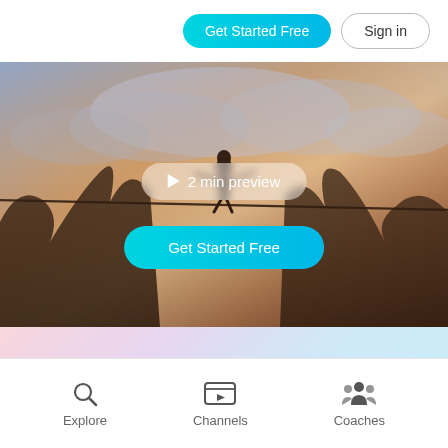Get Started Free | Sign in
[Figure (photo): Person walking on a tightrope/slackline between rocks with dramatic cloudy sky background, with a '2 min preview' button and 'Get Started Free' call-to-action button overlaid on the hero image]
Build Confidence and Sleep Hypnotherapy
[Figure (infographic): Bottom navigation bar with three icons and labels: Explore (search/magnifying glass icon), Channels (video screen icon), Coaches (group of people icon)]